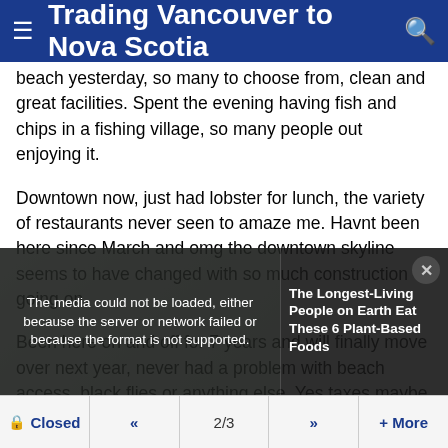Trading Vancouver to Nova Scotia
beach yesterday, so many to choose from, clean and great facilities. Spent the evening having fish and chips in a fishing village, so many people out enjoying it.
Downtown now, just had lobster for lunch, the variety of restaurants never seen to amaze me. Havnt been here since March and omg the downtown skyline seems to have changed with so much construction going on.
Been here on and off for 7 years and will finally move over next year, never had a problem with beach access, black flies or anything else. Yes taxes maybe higher but looking at
[Figure (screenshot): Media error overlay with text 'The media could not be loaded, either because the server or network failed or because the format is not supported.' alongside an article promotion for 'The Longest-Living People on Earth Eat These 6 Plant-Based Foods']
Closed  «  2/3  »  + More